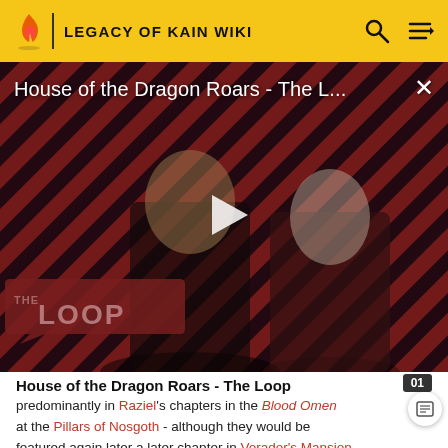LEGACY OF KAIN WIKI
[Figure (screenshot): Video thumbnail with diagonal red and black striped background, two fantasy characters (armored figure and pale-haired woman), play button overlay, 'House of the Dragon Roars - The L...' title text, close X button, and THE LOOP badge at bottom left]
House of the Dragon Roars - The Loop
predominantly in Raziel's chapters in the Blood Omen at the Pillars of Nosgoth - although they would be featured again later a later chapter in Vorador's Mansion. They were notable for their imposing size and use of